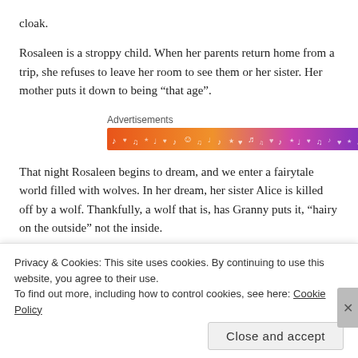cloak.
Rosaleen is a stroppy child. When her parents return home from a trip, she refuses to leave her room to see them or her sister. Her mother puts it down to being “that age”.
Advertisements
[Figure (illustration): A colorful horizontal banner advertisement with orange to purple gradient background and small decorative music/heart icons in white.]
That night Rosaleen begins to dream, and we enter a fairytale world filled with wolves. In her dream, her sister Alice is killed off by a wolf. Thankfully, a wolf that is, has Granny puts it, “hairy on the outside” not the inside.
Privacy & Cookies: This site uses cookies. By continuing to use this website, you agree to their use.
To find out more, including how to control cookies, see here: Cookie Policy
Close and accept